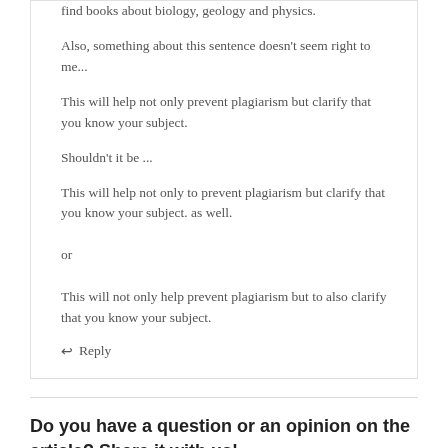find books about biology, geology and physics.
Also, something about this sentence doesn't seem right to me...
This will help not only prevent plagiarism but clarify that you know your subject.
Shouldn't it be ...
This will help not only to prevent plagiarism but clarify that you know your subject. as well.
or
This will not only help prevent plagiarism but to also clarify that you know your subject.
↩ Reply
Do you have a question or an opinion on the article? Share it with us!
Your email address will not be published. Required fields are marked *